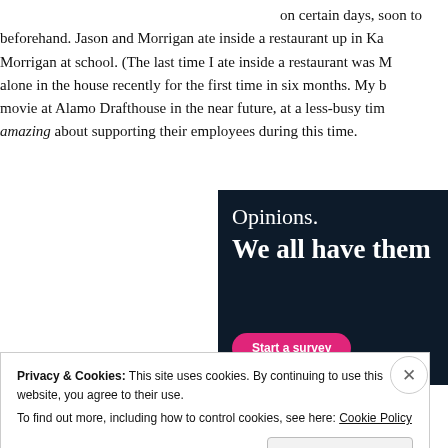on certain days, soon to beforehand. Jason and Morrigan ate inside a restaurant up in Ka Morrigan at school. (The last time I ate inside a restaurant was M alone in the house recently for the first time in six months. My b movie at Alamo Drafthouse in the near future, at a less-busy tim amazing about supporting their employees during this time.
[Figure (other): Dark navy advertisement banner with white text reading 'Opinions. We all have them' and a pink 'Start a survey' button.]
Privacy & Cookies: This site uses cookies. By continuing to use this website, you agree to their use.
To find out more, including how to control cookies, see here: Cookie Policy
Close and accept